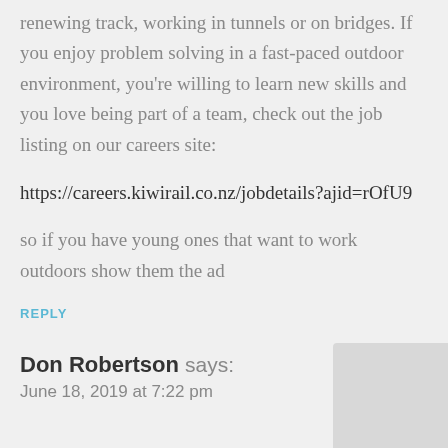renewing track, working in tunnels or on bridges. If you enjoy problem solving in a fast-paced outdoor environment, you're willing to learn new skills and you love being part of a team, check out the job listing on our careers site:
https://careers.kiwirail.co.nz/jobdetails?ajid=rOfU9
so if you have young ones that want to work outdoors show them the ad
REPLY
Don Robertson says:
June 18, 2019 at 7:22 pm